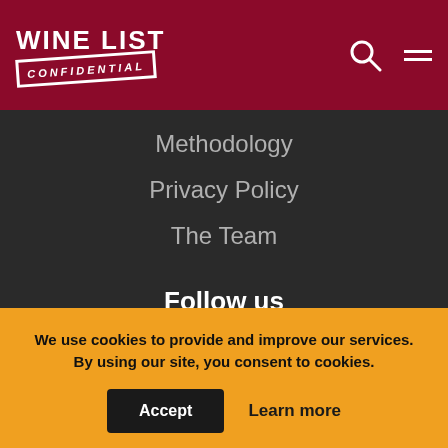WINE LIST CONFIDENTIAL
Methodology
Privacy Policy
The Team
Follow us
[Figure (illustration): Social media icons: Twitter (blue circle), Facebook (dark blue circle), Instagram (white circle)]
We use cookies to provide and improve our services. By using our site, you consent to cookies.
Accept   Learn more